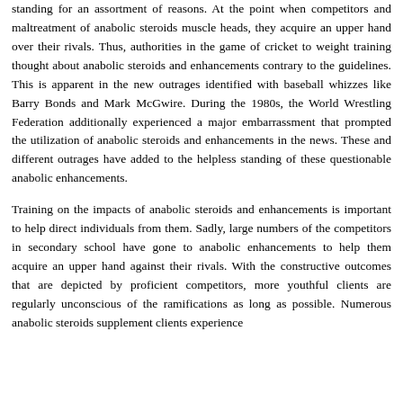standing for an assortment of reasons. At the point when competitors and maltreatment of anabolic steroids muscle heads, they acquire an upper hand over their rivals. Thus, authorities in the game of cricket to weight training thought about anabolic steroids and enhancements contrary to the guidelines. This is apparent in the new outrages identified with baseball whizzes like Barry Bonds and Mark McGwire. During the 1980s, the World Wrestling Federation additionally experienced a major embarrassment that prompted the utilization of anabolic steroids and enhancements in the news. These and different outrages have added to the helpless standing of these questionable anabolic enhancements.
Training on the impacts of anabolic steroids and enhancements is important to help direct individuals from them. Sadly, large numbers of the competitors in secondary school have gone to anabolic enhancements to help them acquire an upper hand against their rivals. With the constructive outcomes that are depicted by proficient competitors, more youthful clients are regularly unconscious of the ramifications as long as possible. Numerous anabolic steroids supplement clients experience